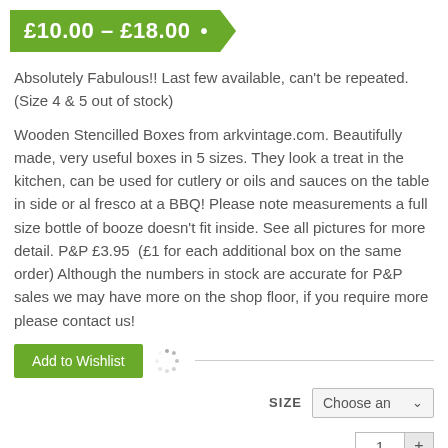£10.00 – £18.00 •
Absolutely Fabulous!! Last few available, can't be repeated. (Size 4 & 5 out of stock)
Wooden Stencilled Boxes from arkvintage.com. Beautifully made, very useful boxes in 5 sizes. They look a treat in the kitchen, can be used for cutlery or oils and sauces on the table in side or al fresco at a BBQ! Please note measurements a full size bottle of booze doesn't fit inside. See all pictures for more detail. P&P £3.95 (£1 for each additional box on the same order) Although the numbers in stock are accurate for P&P sales we may have more on the shop floor, if you require more please contact us!
[Figure (other): Add to Wishlist green button with spinner loading icon and horizontal line]
[Figure (other): SIZE label with Choose an option dropdown selector]
[Figure (other): Quantity input field showing 1 with plus button]